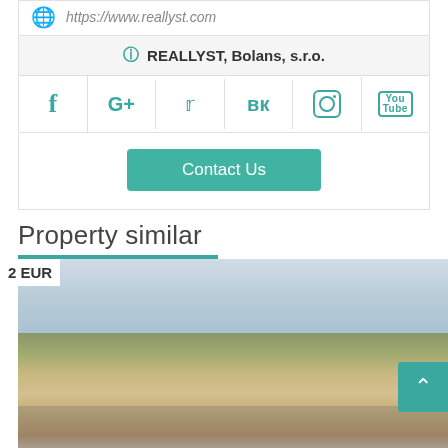https://www.reallyst.com
REALLYST, Bolans, s.r.o.
[Figure (infographic): Social media icons row: Facebook, Google+, Twitter, VK, Instagram, YouTube in teal color]
Contact Us
Property similar
[Figure (photo): Rooftop balcony view over Prague city buildings with red roofs and cloudy sky. Caption overlay reads '4 bedroom apartment for sale']
avská, 120 00 Praha 2, Чехия